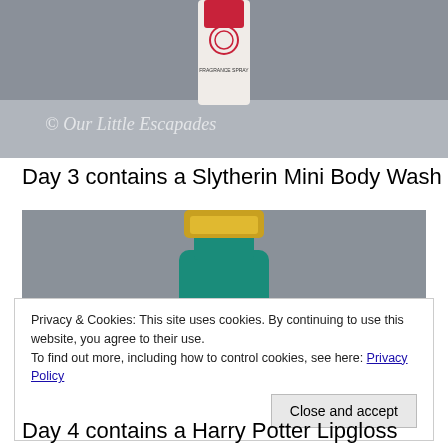[Figure (photo): Photo of a fragrance spray bottle against a gray background, with watermark text '© Our Little Escapades' overlaid in a serif/decorative font.]
Day 3 contains a Slytherin Mini Body Wash
[Figure (photo): Photo of a small teal/green glass bottle with gold cap and a label featuring a Slytherin snake emblem, against a gray background.]
Privacy & Cookies: This site uses cookies. By continuing to use this website, you agree to their use.
To find out more, including how to control cookies, see here: Privacy Policy
Day 4 contains a Harry Potter Lipgloss